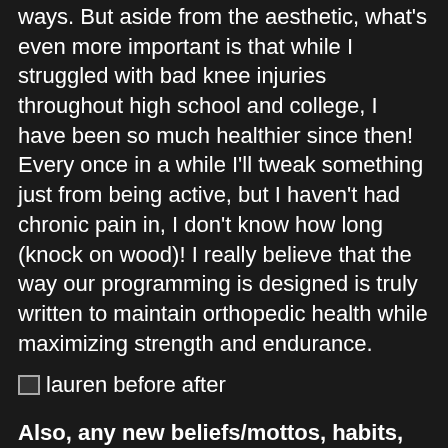ways.  But aside from the aesthetic, what's even more important is that while I struggled with bad knee injuries throughout high school and college, I have been so much healthier since then!  Every once in a while I'll tweak something just from being active, but I haven't had chronic pain in, I don't know how long (knock on wood)!  I really believe that the way our programming is designed is truly written to maintain orthopedic health while maximizing strength and endurance.
[Figure (photo): Broken image placeholder labeled 'lauren before after']
Also, any new beliefs/mottos, habits, behaviors that you formed since you started that have most positively impacted your life?